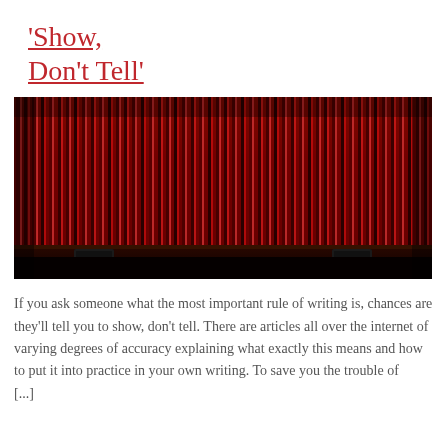Don't Tell'
[Figure (photo): Red theater stage curtains illuminated by stage lighting, with a dark stage floor visible at the bottom.]
If you ask someone what the most important rule of writing is, chances are they'll tell you to show, don't tell. There are articles all over the internet of varying degrees of accuracy explaining what exactly this means and how to put it into practice in your own writing. To save you the trouble of [...]